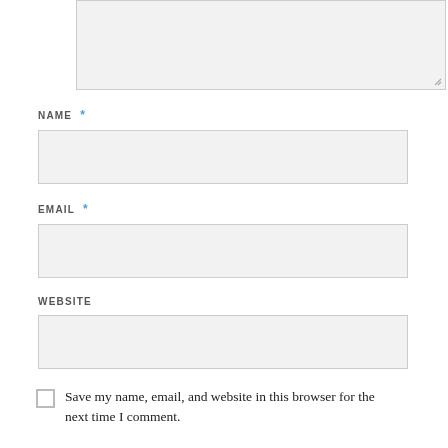[Figure (screenshot): Partial textarea form field at top of page, with resize handle at bottom-right]
NAME *
[Figure (screenshot): Name input text field, light gray background]
EMAIL *
[Figure (screenshot): Email input text field, light gray background]
WEBSITE
[Figure (screenshot): Website input text field, light gray background]
Save my name, email, and website in this browser for the next time I comment.